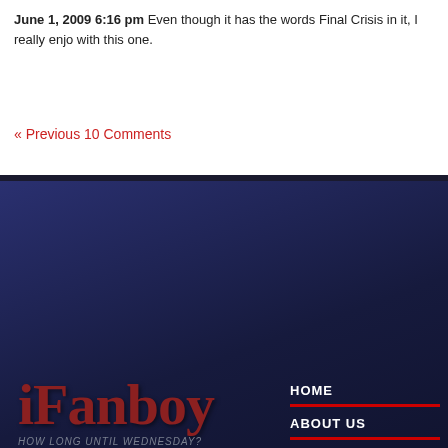June 1, 2009 6:16 pm Even though it has the words Final Crisis in it, I really enjo... with this one.
« Previous 10 Comments
[Figure (logo): iFanboy logo with tagline 'HOW LONG UNTIL WEDNESDAY?' on dark navy background, with navigation links HOME, ABOUT US, CONTACT US, SUPPORT IFANBOY separated by red dividers]